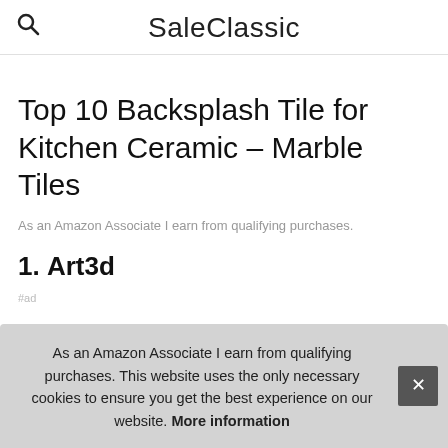SaleClassic
Top 10 Backsplash Tile for Kitchen Ceramic – Marble Tiles
As an Amazon Associate I earn from qualifying purchases.
1. Art3d
#ad
As an Amazon Associate I earn from qualifying purchases. This website uses the only necessary cookies to ensure you get the best experience on our website. More information